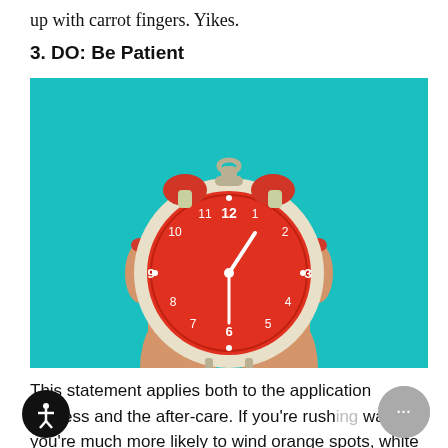up with carrot fingers. Yikes.
3. DO: Be Patient
[Figure (photo): Two hands held up holding a large red alarm clock against a teal/turquoise background. The hands have red nail polish.]
This statement applies both to the application process and the after-care. If you're rushing way, you're much more likely to wind up with orange spots, white patches, or a